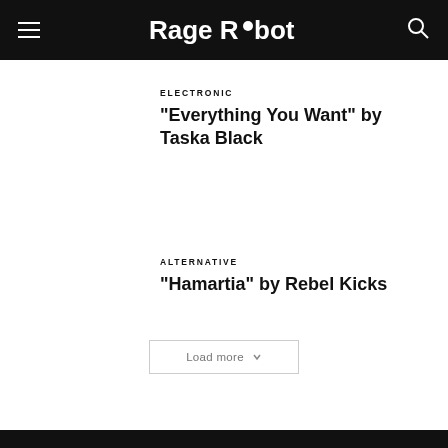Rage Robot
ELECTRONIC
“Everything You Want” by Taska Black
ALTERNATIVE
“Hamartia” by Rebel Kicks
Load more